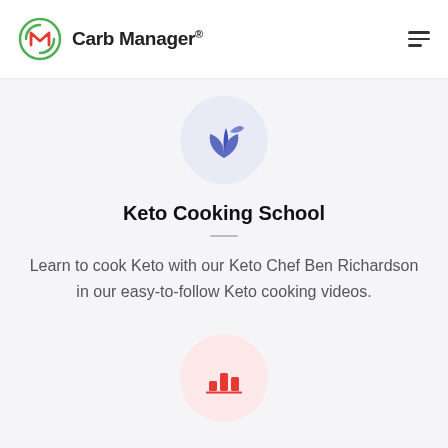Carb Manager®
Keto For Beginners series, where you learn all about macros and so much more.
[Figure (illustration): Blue keto leaf/plant icon inside a light purple circle]
Keto Cooking School
Learn to cook Keto with our Keto Chef Ben Richardson in our easy-to-follow Keto cooking videos.
[Figure (illustration): Red bar chart icon inside a light pink circle]